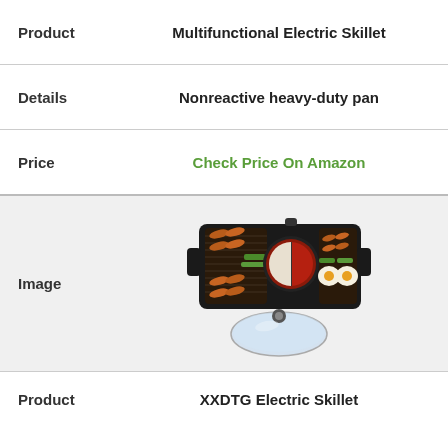| Product | Multifunctional Electric Skillet |
| Details | Nonreactive heavy-duty pan |
| Price | Check Price On Amazon |
[Figure (photo): Multifunctional electric skillet/grill hot pot with food cooking on it and a glass lid in front]
| Product | XXDTG Electric Skillet |
| Details | Grill Hot Pot Barbecue |
| Price | Check Price On Amazon |